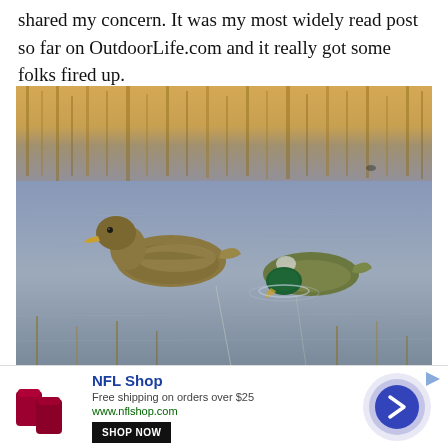shared my concern. It was my most widely read post so far on OutdoorLife.com and it really got some folks fired up.
[Figure (photo): Two ducks swimming on a still, icy/shallow body of water. One duck (hen mallard) is on the left, the other (mallard with green head) is on the right with head dipped into the water. Dry reeds/grass visible in the blurred background.]
[Figure (infographic): NFL Shop advertisement banner. Shows two dark red/maroon cup-like objects on the left, NFL Shop title in blue, free shipping offer text, www.nflshop.com URL, a SHOP NOW button, and a blue circle with a right arrow chevron on the right side.]